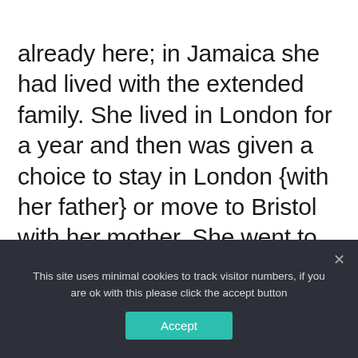already here; in Jamaica she had lived with the extended family. She lived in London for a year and then was given a choice to stay in London {with her father} or move to Bristol with her mother. She went to Bristol and has never moved since.
This site uses minimal cookies to track visitor numbers, if you are ok with this please click the accept button